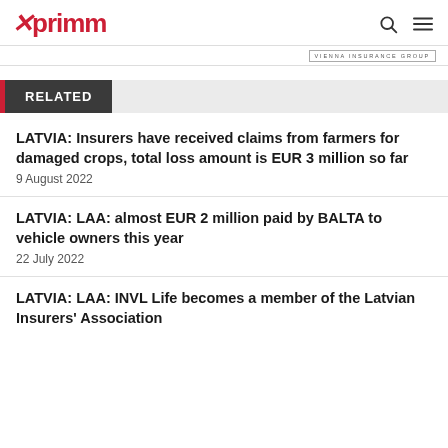xprimm
RELATED
LATVIA: Insurers have received claims from farmers for damaged crops, total loss amount is EUR 3 million so far
9 August 2022
LATVIA: LAA: almost EUR 2 million paid by BALTA to vehicle owners this year
22 July 2022
LATVIA: LAA: INVL Life becomes a member of the Latvian Insurers' Association